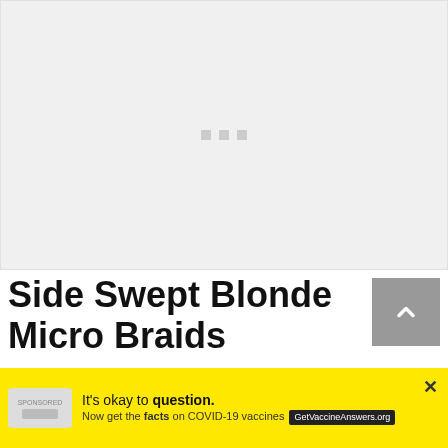[Figure (photo): Placeholder image area with three gray loading dots, indicating an image is loading]
Side Swept Blonde Micro Braids
As the the name suggests, attention on this hairstyle is placed on the left side
[Figure (other): Advertisement banner: It's okay to question. Now get the facts on COVID-19 vaccines. GetVaccineAnswers.org]